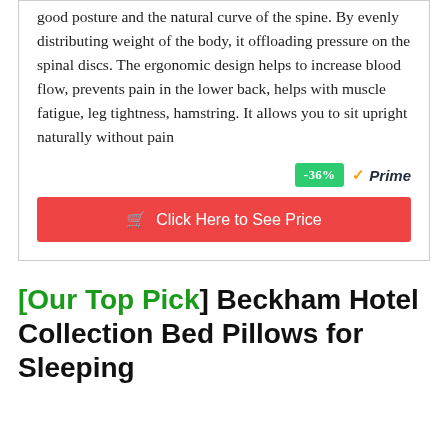good posture and the natural curve of the spine. By evenly distributing weight of the body, it offloading pressure on the spinal discs. The ergonomic design helps to increase blood flow, prevents pain in the lower back, helps with muscle fatigue, leg tightness, hamstring. It allows you to sit upright naturally without pain
[Figure (other): Discount badge showing -36% in green, and Amazon Prime checkmark logo]
Click Here to See Price
[Our Top Pick] Beckham Hotel Collection Bed Pillows for Sleeping